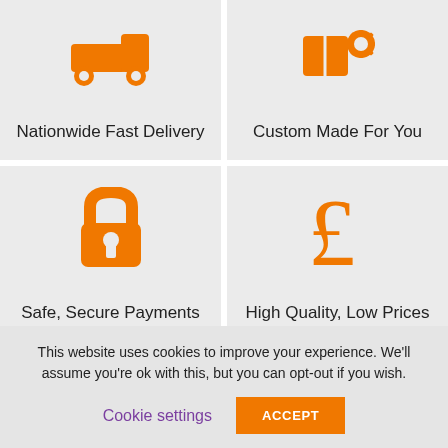[Figure (infographic): Grid of four feature tiles with orange icons and labels. Top-left: truck/car icon with 'Nationwide Fast Delivery'. Top-right: package with gear icon with 'Custom Made For You'. Middle-left: padlock icon with 'Safe, Secure Payments'. Middle-right: pound sign icon with 'High Quality, Low Prices'. Bottom-left: star icon. Bottom-right: wrench icon.]
This website uses cookies to improve your experience. We'll assume you're ok with this, but you can opt-out if you wish.
Cookie settings
ACCEPT